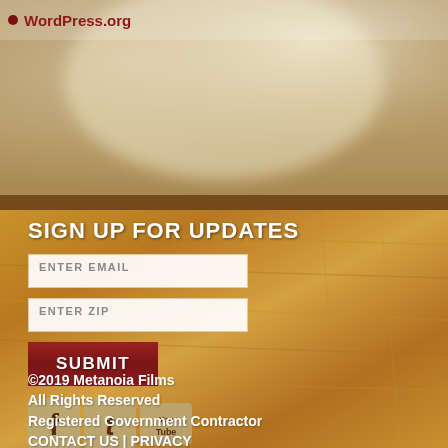WordPress.org
[Figure (photo): Blurred/washed background photo at top of page, warm neutral tones]
SIGN UP FOR UPDATES
ENTER EMAIL
ENTER ZIP
SUBMIT
[Figure (logo): Social media icons: Facebook (f), Twitter (t), YouTube (You Tube)]
©2019 Metanoia Films
All Rights Reserved
Registered Government Contractor
CONTACT US | PRIVACY